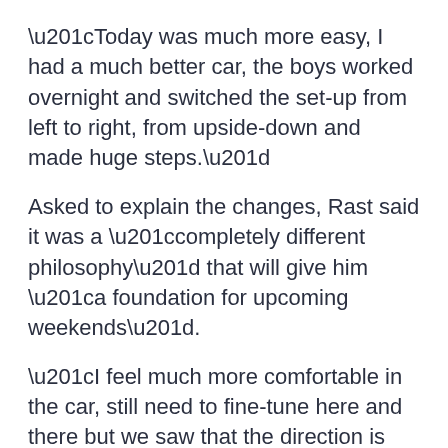“Today was much more easy, I had a much better car, the boys worked overnight and switched the set-up from left to right, from upside-down and made huge steps.”
Asked to explain the changes, Rast said it was a “completely different philosophy” that will give him “a foundation for upcoming weekends”.
“I feel much more comfortable in the car, still need to fine-tune here and there but we saw that the direction is the right one, and that’s very positive for the next weekends,” he said.
He later added: “After Portimao, I wasn’t really confident. Now I am much more